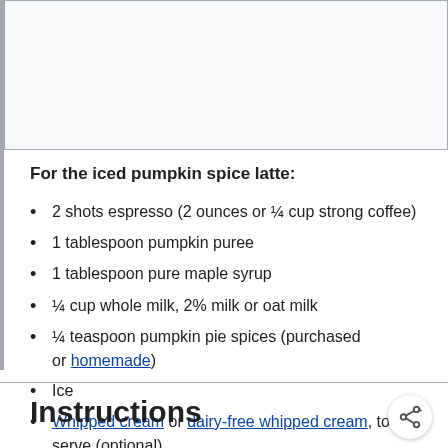[Figure (photo): Image placeholder area at top of recipe section]
For the iced pumpkin spice latte:
2 shots espresso (2 ounces or ¼ cup strong coffee)
1 tablespoon pumpkin puree
1 tablespoon pure maple syrup
¼ cup whole milk, 2% milk or oat milk
¼ teaspoon pumpkin pie spices (purchased or homemade)
Ice
Whipped cream or dairy-free whipped cream, to serve (optional)
Instructions